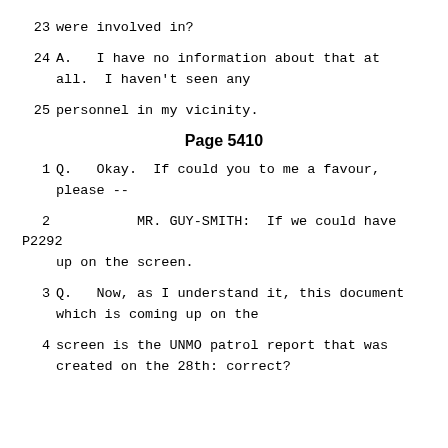23   were involved in?
24   A.   I have no information about that at all.  I haven't seen any
25   personnel in my vicinity.
Page 5410
1   Q.   Okay.  If could you to me a favour, please --
2   MR. GUY-SMITH:  If we could have P2292 up on the screen.
3   Q.   Now, as I understand it, this document which is coming up on the
4   screen is the UNMO patrol report that was created on the 28th: correct?